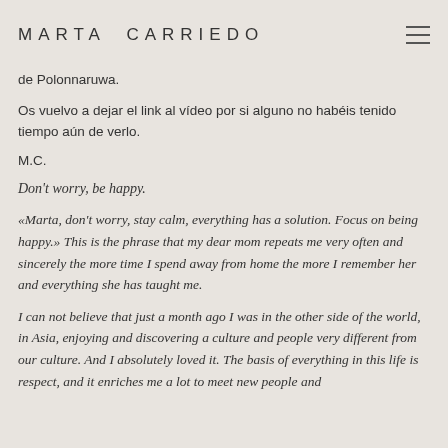MARTA CARRIEDO
de Polonnaruwa.
Os vuelvo a dejar el link al vídeo por si alguno no habéis tenido tiempo aún de verlo.
M.C.
Don't worry, be happy.
«Marta, don't worry, stay calm, everything has a solution. Focus on being happy.» This is the phrase that my dear mom repeats me very often and sincerely the more time I spend away from home the more I remember her and everything she has taught me.
I can not believe that just a month ago I was in the other side of the world, in Asia, enjoying and discovering a culture and people very different from our culture. And I absolutely loved it. The basis of everything in this life is respect, and it enriches me a lot to meet new people and